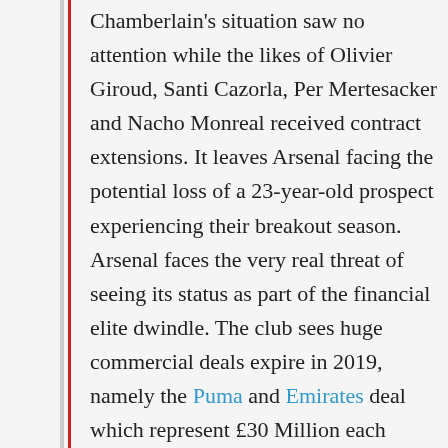Chamberlain's situation saw no attention while the likes of Olivier Giroud, Santi Cazorla, Per Mertesacker and Nacho Monreal received contract extensions. It leaves Arsenal facing the potential loss of a 23-year-old prospect experiencing their breakout season. Arsenal faces the very real threat of seeing its status as part of the financial elite dwindle. The club sees huge commercial deals expire in 2019, namely the Puma and Emirates deal which represent £30 Million each annually. On the pitch successes in the coming